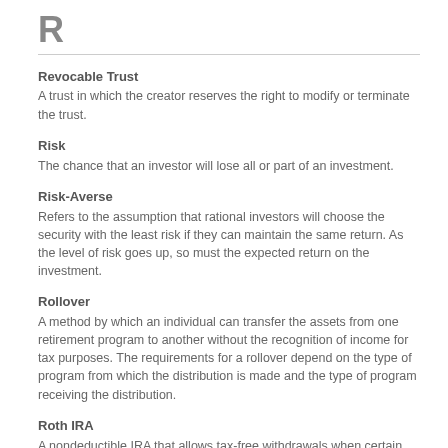R
Revocable Trust
A trust in which the creator reserves the right to modify or terminate the trust.
Risk
The chance that an investor will lose all or part of an investment.
Risk-Averse
Refers to the assumption that rational investors will choose the security with the least risk if they can maintain the same return. As the level of risk goes up, so must the expected return on the investment.
Rollover
A method by which an individual can transfer the assets from one retirement program to another without the recognition of income for tax purposes. The requirements for a rollover depend on the type of program from which the distribution is made and the type of program receiving the distribution.
Roth IRA
A nondeductible IRA that allows tax-free withdrawals when certain conditions are met.